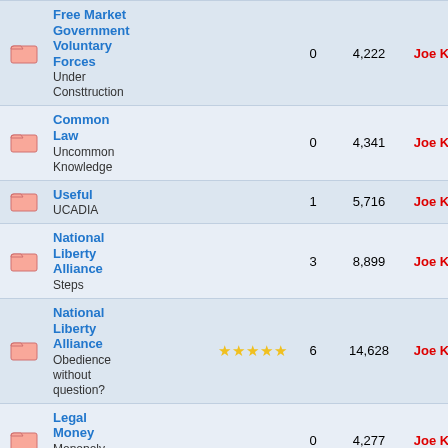|  | Topic | Rating | Replies | Views | Last Post By | Last Post Date |
| --- | --- | --- | --- | --- | --- | --- |
| [folder] | Free Market Government Voluntary Forces
Under Consttruction |  | 0 | 4,222 | Joe Kelley | Tue Jun 17th, 2...
by Joe K... |
| [folder] | Common Law
Uncommon Knowledge |  | 0 | 4,341 | Joe Kelley | Wed Jun 4th, 2...
by Joe K... |
| [folder] | Useful
UCADIA |  | 1 | 5,716 | Joe Kelley | Sat Oct 19th, 2...
by Joe K... |
| [folder] | National Liberty Alliance
Steps |  | 3 | 8,899 | Joe Kelley | Fri Sep 27th, 2...
by Joe K... |
| [folder] | National Liberty Alliance
Obedience without question? | ★★★★★ | 6 | 14,628 | Joe Kelley | Tue Sep 24th, 2...
by Joe K... |
| [folder] | Legal Money
Monopoly Power |  | 0 | 4,277 | Joe Kelley | Fri Sep 13th, 2...
by Joe K... |
| [folder] | Public
Private |  | 1 | 5,705 | Joe Kelley | Wed Aug 21st, 2...
by Joe K... |
| [folder] | Magna Carte
Legal Crime |  | 0 | 4,253 | Joe Kelley | Mon Aug 19th, 2...
by Joe K... |